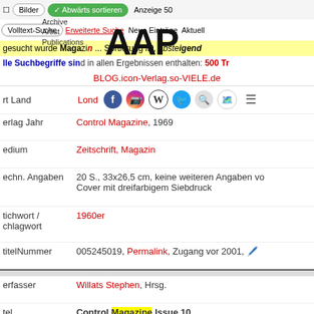Bilder | Abwärts sortieren | Anzeige 50
Volltext-Suche | Erweiterte Suche | Neue Einträge | Aktuell
[Figure (logo): AAP Archive Artist Publications logo]
gesucht wurde Magazin ... Sortierung ID, absteigend
Alle Suchbegriffe sind in allen Ergebnissen enthalten: 500 Tr
BLOG.icon-Verlag.so-VIELE.de
ort Land: London (Großbritann)
Verlag Jahr: Control Magazine, 1969
Medium: Zeitschrift, Magazin
Techn. Angaben: 20 S., 33x26,5 cm, keine weiteren Angaben vo... Cover mit dreifarbigem Siebdruck
Stichwort / Schlagwort: 1960er
ArtikelNummer: 005245019, Permalink, Zugang vor 2001
Verfasser: Willats Stephen, Hrsg.
Titel: Control Magazine Issue 10
Ort Land: London (Großbritannien)
Verlag Jahr: Control Magazine, 1977
Medium: Zeitschrift, Magazin